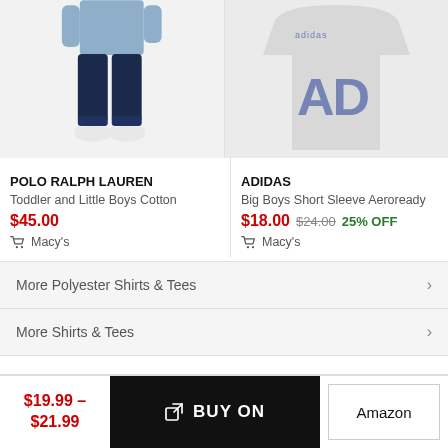[Figure (photo): Toddler/little boy in dark jeans and blue shirt with white sneakers, cropped at torso, gray background]
[Figure (photo): Gray Adidas sleeveless shirt with large blue Adidas logo, gray background]
POLO RALPH LAUREN
Toddler and Little Boys Cotton
$45.00
Macy's
ADIDAS
Big Boys Short Sleeve Aeroready
$18.00  $24.00  25% OFF
Macy's
More Polyester Shirts & Tees
More Shirts & Tees
$19.99 – $21.99
BUY ON
Amazon